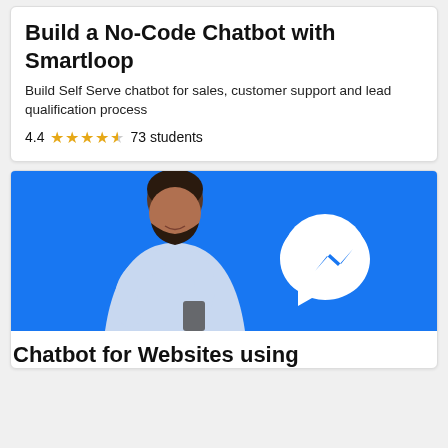Build a No-Code Chatbot with Smartloop
Build Self Serve chatbot for sales, customer support and lead qualification process
4.4 ★★★★☆ 73 students
[Figure (photo): A man in a light blue shirt holding a smartphone, standing against a blue background with a white Facebook Messenger logo icon.]
Chatbot for Websites using